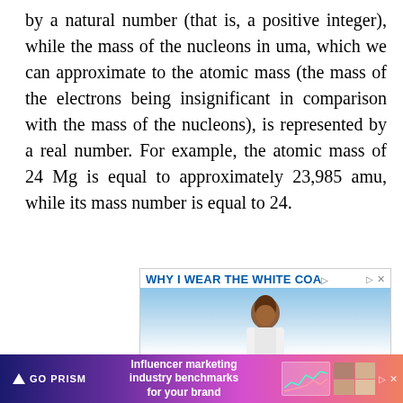by a natural number (that is, a positive integer), while the mass of the nucleons in uma, which we can approximate to the atomic mass (the mass of the electrons being insignificant in comparison with the mass of the nucleons), is represented by a real number. For example, the atomic mass of 24 Mg is equal to approximately 23,985 amu, while its mass number is equal to 24.
[Figure (photo): Advertisement for RUSM (Ross University School of Medicine) featuring a young man in a white coat with text 'WHY I WEAR THE WHITE COAT' and quote 'To be an advocate for change' by Tyeler Checkley, RUSM Class of '26]
[Figure (photo): Advertisement for GO PRISM - Influencer marketing industry benchmarks for your brand, featuring colorful gradient background with logo, chart thumbnail, and photo collage]